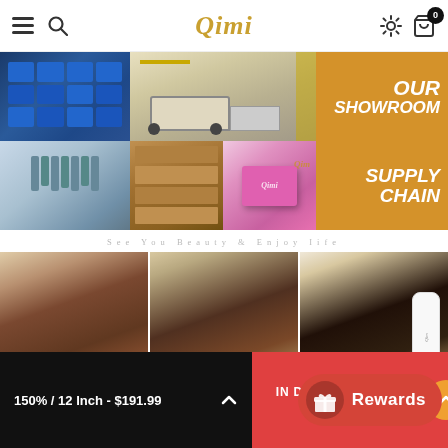Qimi
[Figure (photo): Qimi brand showroom and supply chain photo collage: blue storage bins, warehouse with truck, showroom label (gold background), factory workers, warehouse shelving, pink gift box with Qimi branding, supply chain label (gold background)]
See You Beauty & Enjoy Iife
[Figure (photo): Three customer photos holding Qimi branded pink boxes and products]
[Figure (infographic): Rewards button overlay in red with gift icon]
150% / 12 Inch - $191.99
IN DEN EINKAUFSWAGEN LEGEN